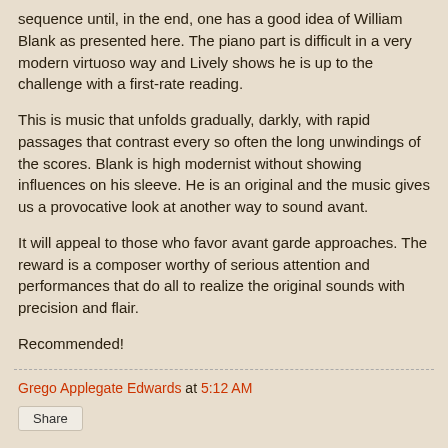sequence until, in the end, one has a good idea of William Blank as presented here. The piano part is difficult in a very modern virtuoso way and Lively shows he is up to the challenge with a first-rate reading.
This is music that unfolds gradually, darkly, with rapid passages that contrast every so often the long unwindings of the scores. Blank is high modernist without showing influences on his sleeve. He is an original and the music gives us a provocative look at another way to sound avant.
It will appeal to those who favor avant garde approaches. The reward is a composer worthy of serious attention and performances that do all to realize the original sounds with precision and flair.
Recommended!
Grego Applegate Edwards at 5:12 AM
Share